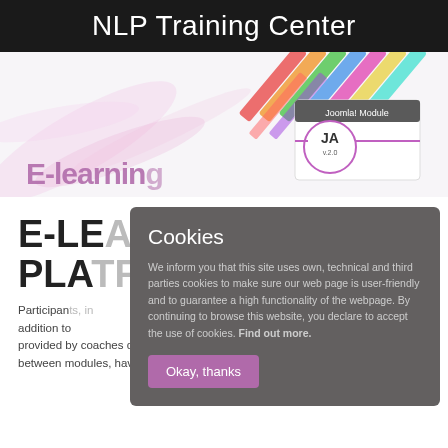NLP Training Center
[Figure (screenshot): Hero banner image with colorful decorative graphics, partial 'E-learning' text in purple, and a JA template/theme product screenshot on the right side.]
E-LEARNING PLATFORM
Participants, in addition to the materials provided by coaches during the training and between modules, have the ability to use e-learning
[Figure (screenshot): Cookie consent overlay dialog with dark grey background. Title: 'Cookies'. Body text: 'We inform you that this site uses own, technical and third parties cookies to make sure our web page is user-friendly and to guarantee a high functionality of the webpage. By continuing to browse this website, you declare to accept the use of cookies. Find out more.' Button: 'Okay, thanks']